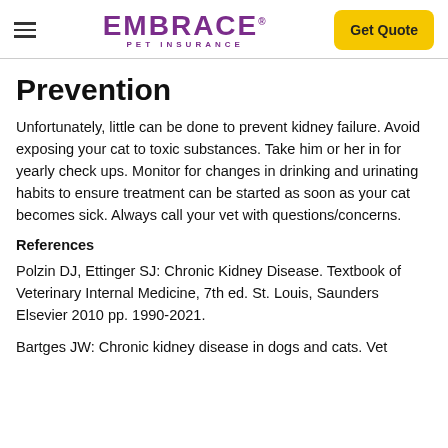EMBRACE PET INSURANCE | Get Quote
Prevention
Unfortunately, little can be done to prevent kidney failure. Avoid exposing your cat to toxic substances. Take him or her in for yearly check ups. Monitor for changes in drinking and urinating habits to ensure treatment can be started as soon as your cat becomes sick. Always call your vet with questions/concerns.
References
Polzin DJ, Ettinger SJ: Chronic Kidney Disease. Textbook of Veterinary Internal Medicine, 7th ed. St. Louis, Saunders Elsevier 2010 pp. 1990-2021.
Bartges JW: Chronic kidney disease in dogs and cats. Vet